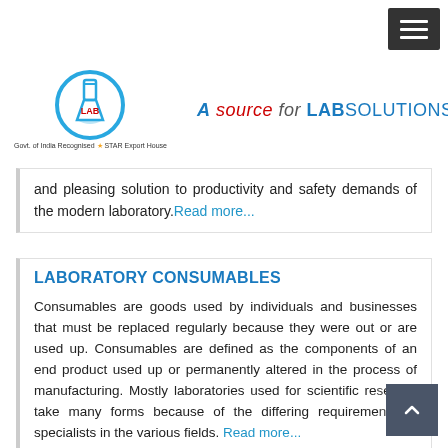[Figure (logo): MK Lab circular logo with LAB text inside and Govt. of India Recognised STAR Export House tagline]
A source for LABSOLUTIONS
and pleasing solution to productivity and safety demands of the modern laboratory. Read more...
LABORATORY CONSUMABLES
Consumables are goods used by individuals and businesses that must be replaced regularly because they were out or are used up. Consumables are defined as the components of an end product used up or permanently altered in the process of manufacturing. Mostly laboratories used for scientific research take many forms because of the differing requirements of specialists in the various fields. Read more...